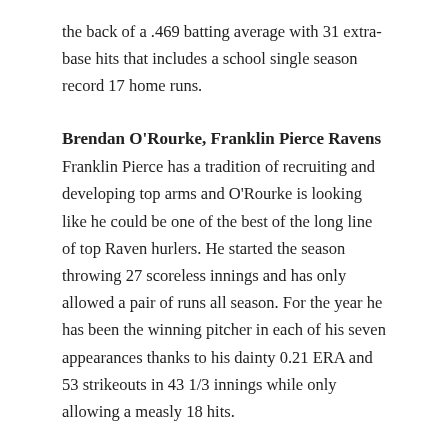the back of a .469 batting average with 31 extra-base hits that includes a school single season record 17 home runs.
Brendan O'Rourke, Franklin Pierce Ravens
Franklin Pierce has a tradition of recruiting and developing top arms and O'Rourke is looking like he could be one of the best of the long line of top Raven hurlers. He started the season throwing 27 scoreless innings and has only allowed a pair of runs all season. For the year he has been the winning pitcher in each of his seven appearances thanks to his dainty 0.21 ERA and 53 strikeouts in 43 1/3 innings while only allowing a measly 18 hits.
Collins Cuthrell, UNC Pembroke Braves